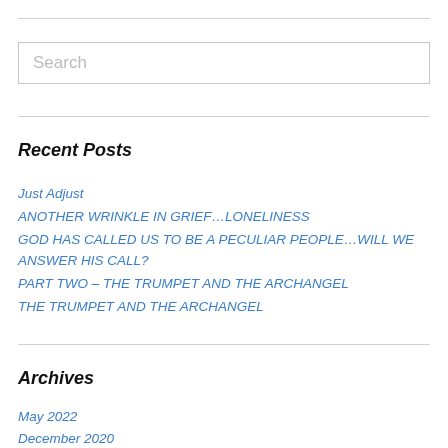Search
Recent Posts
Just Adjust
ANOTHER WRINKLE IN GRIEF…LONELINESS
GOD HAS CALLED US TO BE A PECULIAR PEOPLE…WILL WE ANSWER HIS CALL?
PART TWO – THE TRUMPET AND THE ARCHANGEL
THE TRUMPET AND THE ARCHANGEL
Archives
May 2022
December 2020